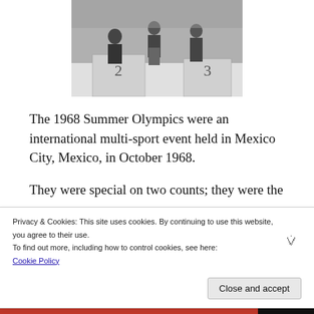[Figure (photo): Black and white photograph of an Olympic medal ceremony podium, showing positions 2 and 3 visible, with officials presenting medals to athletes.]
The 1968 Summer Olympics were an international multi-sport event held in Mexico City, Mexico, in October 1968.
They were special on two counts; they were the
Privacy & Cookies: This site uses cookies. By continuing to use this website, you agree to their use.
To find out more, including how to control cookies, see here:
Cookie Policy
Close and accept